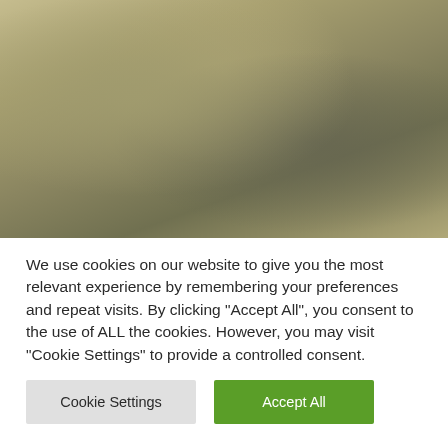[Figure (photo): Blurred background photo with olive/khaki tones, appears to show an indistinct outdoor or natural scene]
We use cookies on our website to give you the most relevant experience by remembering your preferences and repeat visits. By clicking "Accept All", you consent to the use of ALL the cookies. However, you may visit "Cookie Settings" to provide a controlled consent.
Cookie Settings | Accept All